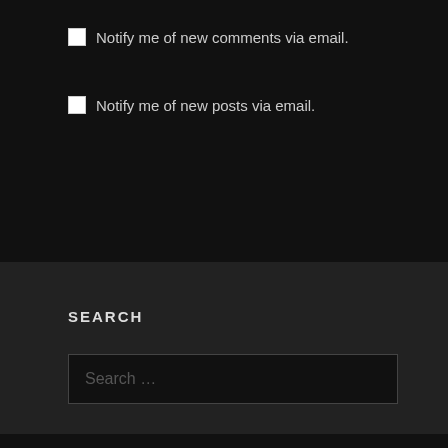Notify me of new comments via email.
Notify me of new posts via email.
SEARCH
Search ...